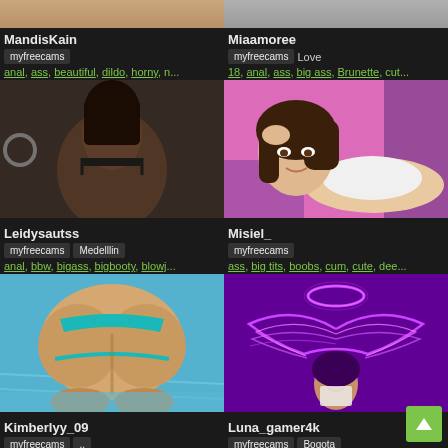[Figure (photo): Partial top strip showing two thumbnails of webcam models]
MandisKain
myfreecams
anal, ass, beautiful, dildo, horny, n...
Miaamoree
myfreecams  Love
18, anal, ass, big ass, Brunette, cut...
[Figure (photo): Webcam model Leidysautss thumbnail]
Leidysautss
myfreecams  Medelllin
anal, bbw, bigass, bigbooty, blowj...
[Figure (photo): Webcam model Misiel_ thumbnail]
Misiel_
myfreecams
ass, big tits, boobs, cum, cute, dee...
[Figure (photo): Webcam model Kimberlyy_09 thumbnail]
Kimberlyy_09
myfreecams  ..
ass, bigass, candy, cum, cute, dan...
[Figure (photo): Webcam model Luna_gamer4k thumbnail with neon angel wings on purple background]
Luna_gamer4k
myfreecams  Bogota
all natural, big ass, big clit, big...